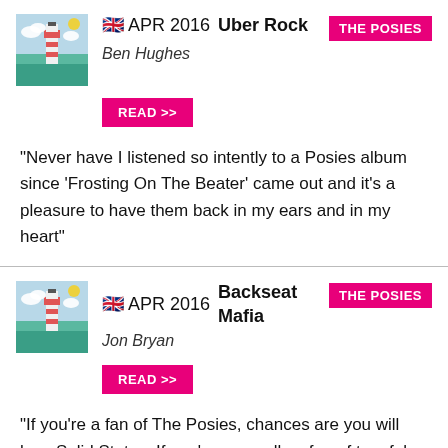APR 2016 Uber Rock — Ben Hughes — THE POSIES
READ >>
"Never have I listened so intently to a Posies album since 'Frosting On The Beater' came out and it's a pleasure to have them back in my ears and in my heart"
APR 2016 Backseat Mafia — Jon Bryan — THE POSIES
READ >>
"If you're a fan of The Posies, chances are you will love Solid States. If you're generally a fan of tuneful guitar-pop, then you'll find something here too"